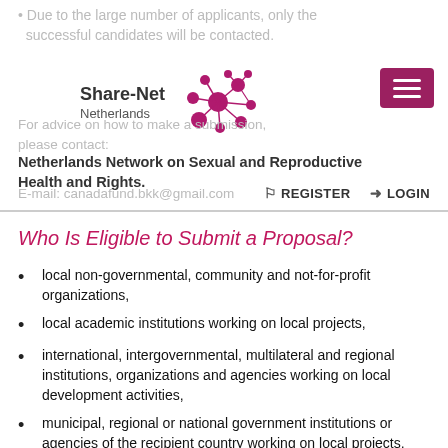Due to the large number of applicants, only the successful candidates will be contacted.
[Figure (logo): Share-Net Netherlands logo with network node graphic]
For advice on how to make a submission, please contact:
Netherlands Framework on Sexual and Reproductive Health and Rights.
E-mail: canadafund.bkk@gmail.com
Who Is Eligible to Submit a Proposal?
local non-governmental, community and not-for-profit organizations,
local academic institutions working on local projects,
international, intergovernmental, multilateral and regional institutions, organizations and agencies working on local development activities,
municipal, regional or national government institutions or agencies of the recipient country working on local projects, and
Canadian non-governmental and not-for-profit